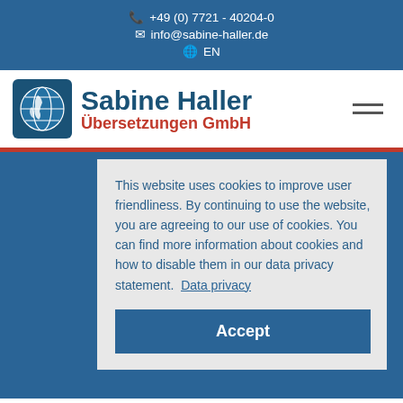+49 (0) 7721 - 40204-0 | info@sabine-haller.de | EN
[Figure (logo): Sabine Haller Übersetzungen GmbH logo with globe icon]
This website uses cookies to improve user friendliness. By continuing to use the website, you are agreeing to our use of cookies. You can find more information about cookies and how to disable them in our data privacy statement. Data privacy
Accept